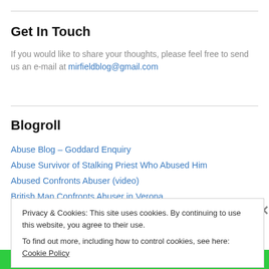Get In Touch
If you would like to share your thoughts, please feel free to send us an e-mail at mirfieldblog@gmail.com
Blogroll
Abuse Blog – Goddard Enquiry
Abuse Survivor of Stalking Priest Who Abused Him
Abused Confronts Abuser (video)
British Man Confronts Abuser in Verona
Privacy & Cookies: This site uses cookies. By continuing to use this website, you agree to their use. To find out more, including how to control cookies, see here: Cookie Policy
Close and accept